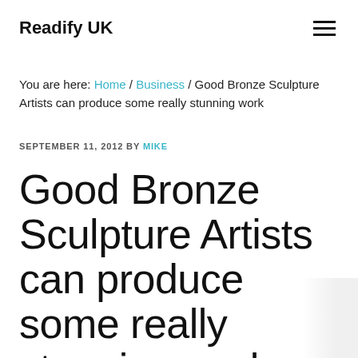Readify UK
You are here: Home / Business / Good Bronze Sculpture Artists can produce some really stunning work
SEPTEMBER 11, 2012 BY MIKE
Good Bronze Sculpture Artists can produce some really stunning work